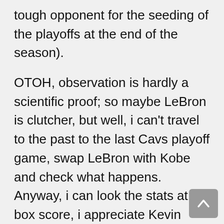tough opponent for the seeding of the playoffs at the end of the season).
OTOH, observation is hardly a scientific proof; so maybe LeBron is clutcher, but well, i can't travel to the past to the last Cavs playoff game, swap LeBron with Kobe and check what happens. Anyway, i can look the stats at the box score, i appreciate Kevin McElroy (and Thomas B.) analysis. And i think the proper way to tell if his observations are wrong is with your own observations. Why did he feel that Amare's TOs would be less? Maybe because he got an offensive rebound out of nowhere that was quickly contested before he could pass out of it, that doesn't really feel like a TO, more like a missed offensive rebound. Maybe because he had to reach out to get a